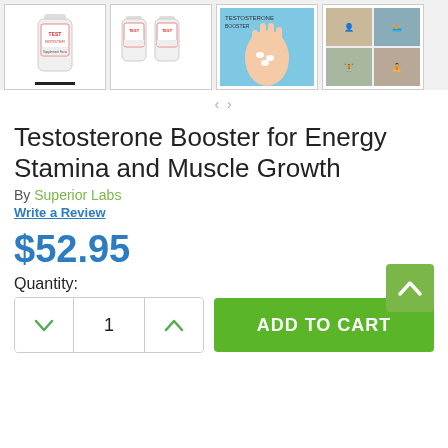[Figure (screenshot): Four product thumbnail images in a row: single supplement bottle, two supplement bottles, a hand with pills, and a lifestyle collage photo. First thumbnail has a black underline indicating it is selected.]
Testosterone Booster for Energy Stamina and Muscle Growth
By Superior Labs
Write a Review
$52.95
Quantity:
ADD TO CART